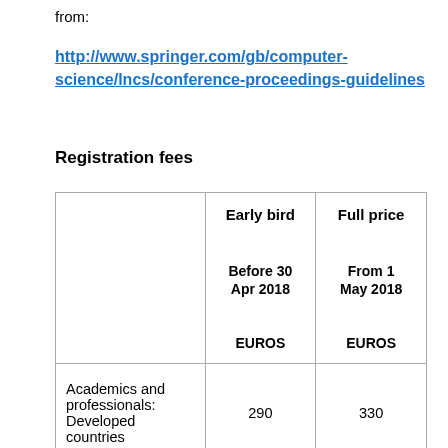from:
http://www.springer.com/gb/computer-science/lncs/conference-proceedings-guidelines
Registration fees
|  | Early bird
Before 30 Apr 2018
EUROS | Full price
From 1 May 2018
EUROS |
| --- | --- | --- |
| Academics and professionals: Developed countries | 290 | 330 |
| Academics and |  |  |